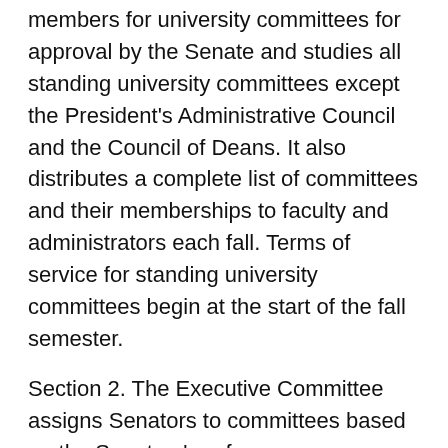members for university committees for approval by the Senate and studies all standing university committees except the President's Administrative Council and the Council of Deans. It also distributes a complete list of committees and their memberships to faculty and administrators each fall. Terms of service for standing university committees begin at the start of the fall semester.
Section 2. The Executive Committee assigns Senators to committees based on the Senators' preferences.
Section 3. Committee responsibilities are as follows:
Meet consistently as needed to make substantive reports at each Senate meeting.